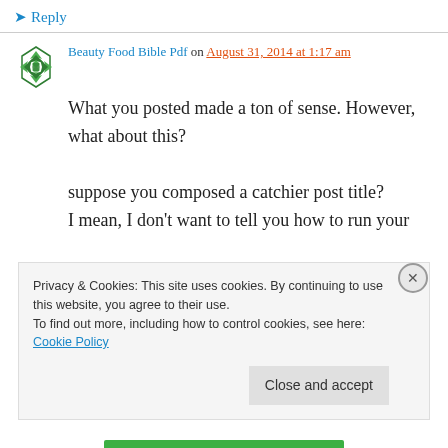↳ Reply
Beauty Food Bible Pdf on August 31, 2014 at 1:17 am
What you posted made a ton of sense. However, what about this? suppose you composed a catchier post title? I mean, I don't want to tell you how to run your website, however what if you added a headline that makes people want more? I mean Workout 110124 | Mr.
Privacy & Cookies: This site uses cookies. By continuing to use this website, you agree to their use. To find out more, including how to control cookies, see here: Cookie Policy
Close and accept